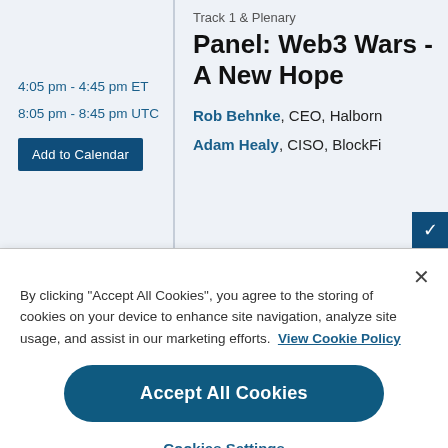Track 1 & Plenary
Panel: Web3 Wars - A New Hope
4:05 pm - 4:45 pm ET
8:05 pm - 8:45 pm UTC
Rob Behnke, CEO, Halborn
Adam Healy, CISO, BlockFi
By clicking "Accept All Cookies", you agree to the storing of cookies on your device to enhance site navigation, analyze site usage, and assist in our marketing efforts. View Cookie Policy
Accept All Cookies
Cookies Settings